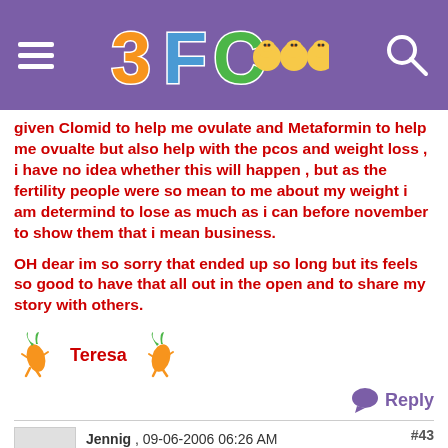3FC (logo header with hamburger menu and search icon)
given Clomid to help me ovulate and Metaformin to help me ovualte but also help with the pcos and weight loss , i have no idea whether this will happen , but as the fertility people were so mean to me about my weight i am determind to lose as much as i can before november to show them that i mean business.

OH dear im so sorry that ended up so long but its feels so good to have that all out in the open and to share my story with others.
Teresa
Reply
Jennig , 09-06-2006 06:26 AM
#43